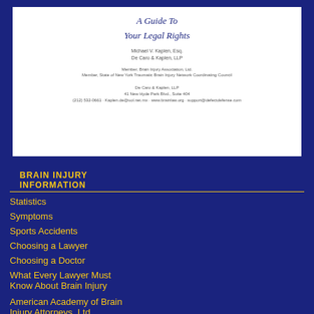[Figure (photo): Book cover: 'A Guide To Your Legal Rights' with author name and firm information]
BRAIN INJURY INFORMATION
Statistics
Symptoms
Sports Accidents
Choosing a Lawyer
Choosing a Doctor
What Every Lawyer Must Know About Brain Injury
American Academy of Brain Injury Attorneys, Ltd.
RECENT POSTS
NFL Class Action Settlement--Deadline for Benefit Eligibility Expires on Monday
Tweet
April 18, 2012 in Brain Injury Latest Medical News
TrackBack
TrackBack URL for this entry:
Trackback link
Listed below are links to weblogs that reference cell death following brain injury:
Comments
The comments to this entry are closed.